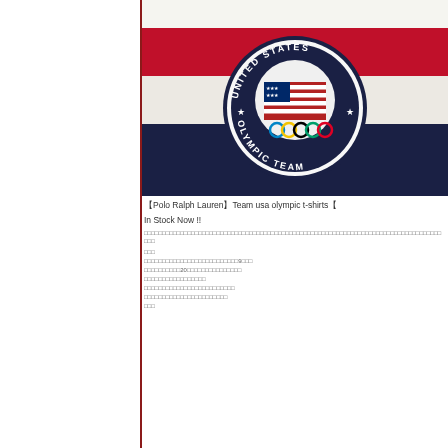[Figure (photo): Photo of a United States Olympic Team garment/textile with red, white and navy stripes and a circular patch showing 'UNITED STATES OLYMPIC TEAM' with American flag and Olympic rings]
【Polo Ralph Lauren】Team usa olympic t-shirts【
In Stock Now !!
□□□□□□□□□□□□□□□□□□□□□□□□□□□□□□□□□□□□□□□□□□□□□□□□□□□□□□□□□□□□□□□□□□□□□□□□□□□□□□□□□□□□□□□□□□
□□□
□□□□□□□□□□□□□□□□□□□□□□□□□□9□□□
□□□□□□□□□□20□□□□□□□□□□□□□□□
□□□□□□□□□□□□□□□□□
□□□□□□□□□□□□□□□□□□□□□□□□□
□□□□□□□□□□□□□□□□□□□□□□□
□□□